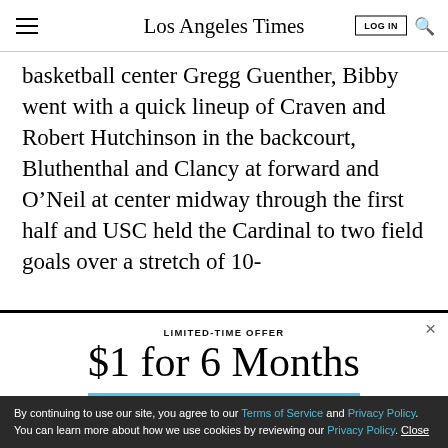Los Angeles Times
basketball center Gregg Guenther, Bibby went with a quick lineup of Craven and Robert Hutchinson in the backcourt, Bluthenthal and Clancy at forward and O’Neil at center midway through the first half and USC held the Cardinal to two field goals over a stretch of 10-
LIMITED-TIME OFFER
$1 for 6 Months
SUBSCRIBE NOW
By continuing to use our site, you agree to our Terms of Service and Privacy Policy. You can learn more about how we use cookies by reviewing our Privacy Policy. Close